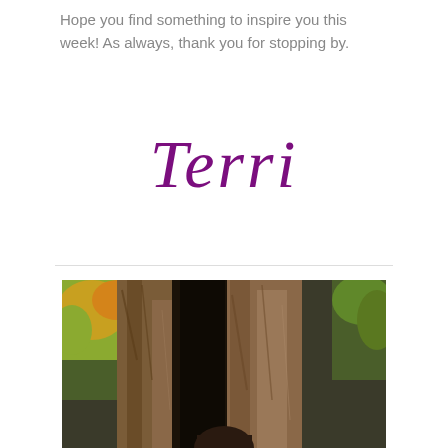Hope you find something to inspire you this week! As always, thank you for stopping by.
[Figure (illustration): Handwritten cursive signature reading 'Terri' in purple/violet ink]
[Figure (photo): Outdoor photograph of a person standing in front of a large hollow tree trunk with textured bark, surrounded by autumn foliage with red, yellow, and green leaves visible in the background]